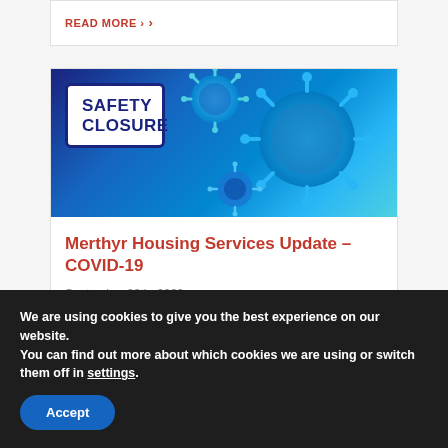READ MORE >
[Figure (photo): Safety Closure sign next to a blue background showing coronavirus particles under microscope]
Merthyr Housing Services Update – COVID-19
September 28th, 2020
We are using cookies to give you the best experience on our website.
You can find out more about which cookies we are using or switch them off in settings.
Accept